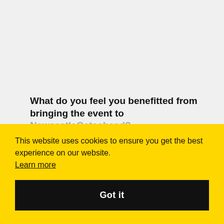What do you feel you benefitted from bringing the event to NewcastleGateshead?
S1: ... p... is ... ue and the meeting content. S R: Meeting new people and a fantastic new location.
This website uses cookies to ensure you get the best experience on our website. Learn more Got it
How do you feel your delegates